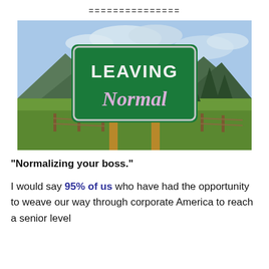===============
[Figure (photo): Outdoor photo of a green road sign reading 'LEAVING Normal' in white text, set against a background of mountains, green meadows, trees, and a partly cloudy sky.]
“Normalizing your boss.”
I would say 95% of us who have had the opportunity to weave our way through corporate America to reach a senior level